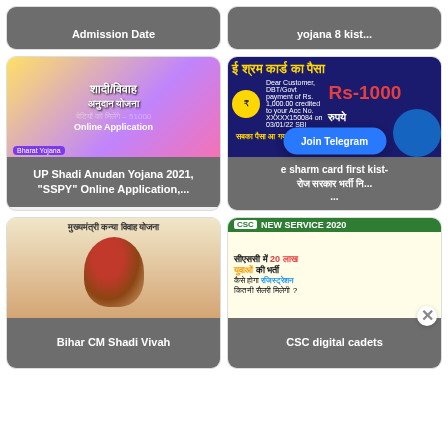[Figure (screenshot): Admission Date card with gray label]
Admission Date
[Figure (screenshot): yojana 8 kist card with gray label]
yojana 8 kist...
[Figure (screenshot): Shadi/Vivah Anudan Yojana thumbnail with Modi image and text: betiyon ko milenge 51000, Online Application, Bharat Yojana. Caption: UP Shadi Anudan Yojana 2021, SSPY Online Application,...]
UP Shadi Anudan Yojana 2021, "SSPY" Online Application,...
[Figure (screenshot): E Shram Card ka paisa thumbnail showing Rs-1000 rupaye and bank notification. Caption: e sharm card first kist- ...]
e sharm card first kist- ...
[Figure (screenshot): Mukhyamantri Kanya Vivah Yojana thumbnail with bride image. Caption: Bihar CM Shadi Vivah]
Bihar CM Shadi Vivah
[Figure (screenshot): CSC New Service 2020 - CSC mein 20 lakh yuvaon ki bharti. Caption: CSC digital cadets]
CSC digital cadets
Join Telegram